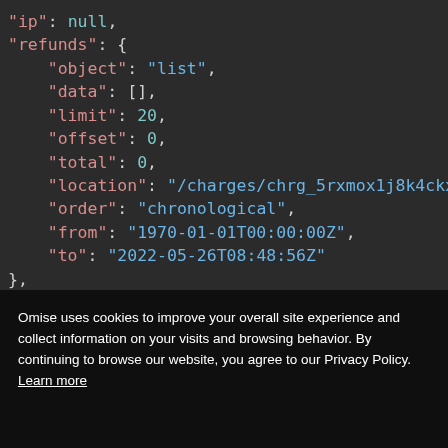[Figure (screenshot): Dark-themed code editor showing JSON snippet with keys: ip, refunds (object, data, limit, offset, total, location, order, from, to) with syntax highlighting — keys in salmon, string values in blue, numbers in teal.]
Omise uses cookies to improve your overall site experience and collect information on your visits and browsing behavior. By continuing to browse our website, you agree to our Privacy Policy. Learn more
Accept